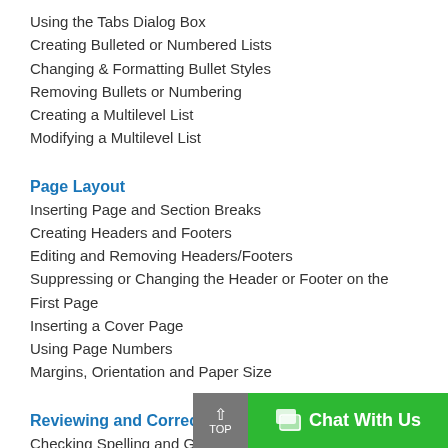Using the Tabs Dialog Box
Creating Bulleted or Numbered Lists
Changing & Formatting Bullet Styles
Removing Bullets or Numbering
Creating a Multilevel List
Modifying a Multilevel List
Page Layout
Inserting Page and Section Breaks
Creating Headers and Footers
Editing and Removing Headers/Footers
Suppressing or Changing the Header or Footer on the First Page
Inserting a Cover Page
Using Page Numbers
Margins, Orientation and Paper Size
Reviewing and Correcting
Checking Spelling and Grammar
Using AutoCorrect
Using the Dictionary and Thesaurus
Reading Documents
Navigating to Other Pages